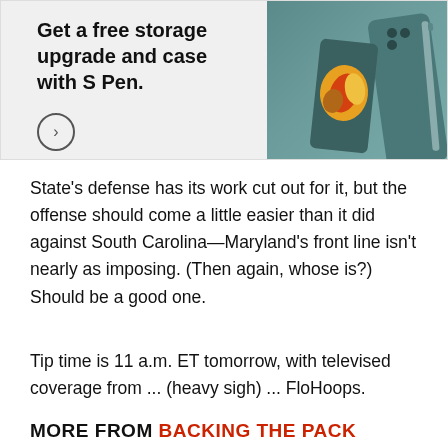[Figure (illustration): Samsung Galaxy Z Fold advertisement banner showing a teal/green folding phone with S Pen and colorful abstract display, with text 'Get a free storage upgrade and case with S Pen.' and a circular arrow button]
State's defense has its work cut out for it, but the offense should come a little easier than it did against South Carolina—Maryland's front line isn't nearly as imposing. (Then again, whose is?) Should be a good one.
Tip time is 11 a.m. ET tomorrow, with televised coverage from ... (heavy sigh) ... FloHoops.
MORE FROM BACKING THE PACK